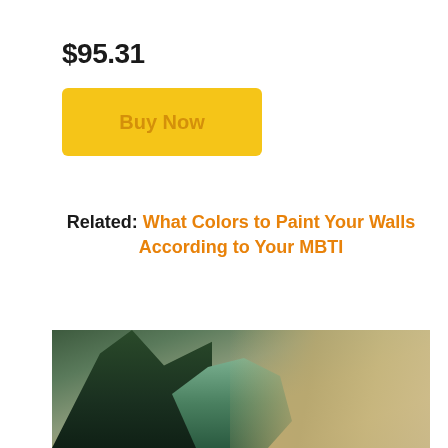$95.31
Buy Now
Related: What Colors to Paint Your Walls According to Your MBTI
[Figure (photo): Photo of green plants with blurred background featuring succulents and foliage against a warm brown/tan background]